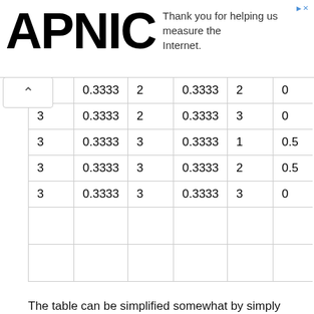[Figure (logo): APNIC logo in bold black text]
Thank you for helping us measure the Internet.
|  | 0.3333 | 2 | 0.3333 | 2 | 0 |
| 3 | 0.3333 | 2 | 0.3333 | 3 | 0 |
| 3 | 0.3333 | 3 | 0.3333 | 1 | 0.5 |
| 3 | 0.3333 | 3 | 0.3333 | 2 | 0.5 |
| 3 | 0.3333 | 3 | 0.3333 | 3 | 0 |
|  |  |  |  |  |  |
|  |  |  |  |  |  |
The table can be simplified somewhat by simply identifying the door that the car is behind as 1 and removing the other lines of the table.
| Car | My | Monte |
| --- | --- | --- |